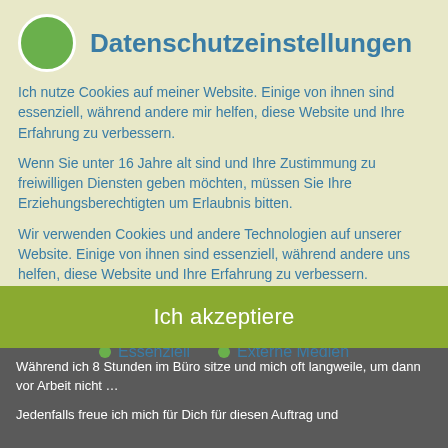Datenschutzeinstellungen
Ich nutze Cookies auf meiner Website. Einige von ihnen sind essenziell, während andere mir helfen, diese Website und Ihre Erfahrung zu verbessern.
Wenn Sie unter 16 Jahre alt sind und Ihre Zustimmung zu freiwilligen Diensten geben möchten, müssen Sie Ihre Erziehungsberechtigten um Erlaubnis bitten.
Wir verwenden Cookies und andere Technologien auf unserer Website. Einige von ihnen sind essenziell, während andere uns helfen, diese Website und Ihre Erfahrung zu verbessern. Personenbezogene Daten können verarbeitet werden (z. B. IP-Adressen), z. B. für personalisierte Anzeigen und Inhalte oder
Essenziell
Externe Medien
Ich akzeptiere
Während ich 8 Stunden im Büro sitze und mich oft langweile, um dann vor Arbeit nicht …
Jedenfalls freue ich mich für Dich für diesen Auftrag und